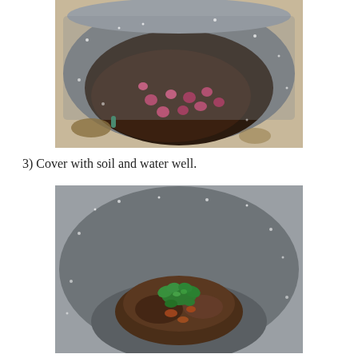[Figure (photo): Top-down view of a large grey fabric pot/bucket filled with dark soil and small red/pink bulbs or seeds scattered across the surface. The container has a speckled grey texture. Some dried leaves are visible outside the pot.]
3) Cover with soil and water well.
[Figure (photo): Top-down view of the same grey speckled fabric pot/bucket, now showing a mound of dark composted material with green parsley or herb leaves growing on top. The mound sits inside the large container.]